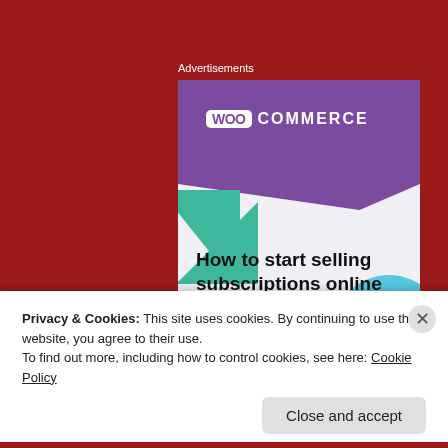Advertisements
[Figure (illustration): WooCommerce advertisement banner showing the WooCommerce logo on a purple background, with the headline 'How to start selling subscriptions online' and a purple 'Start a new store' button. Decorative green triangle and blue quarter-circle shapes are visible.]
Privacy & Cookies: This site uses cookies. By continuing to use this website, you agree to their use.
To find out more, including how to control cookies, see here: Cookie Policy
Close and accept